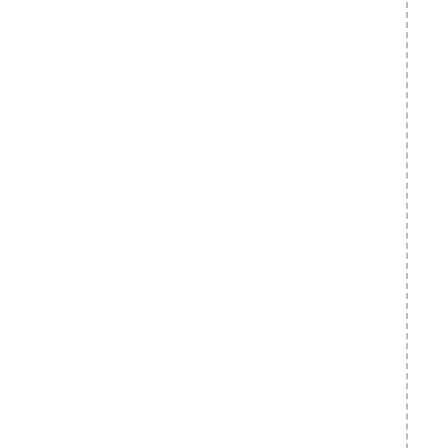0, many others between 1913 and 1919, and s